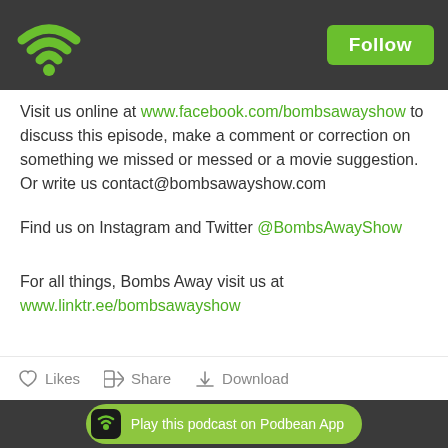Follow
Visit us online at www.facebook.com/bombsawayshow to discuss this episode, make a comment or correction on something we missed or messed or a movie suggestion. Or write us contact@bombsawayshow.com
Find us on Instagram and Twitter @BombsAwayShow
For all things, Bombs Away visit us at www.linktr.ee/bombsawayshow
Likes  Share  Download
Play this podcast on Podbean App